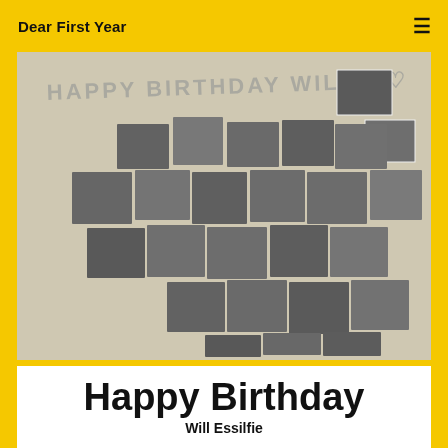Dear First Year
[Figure (photo): Black and white photo of a dorm room wall covered with printed photos and a hand-written banner reading 'HAPPY BIRTHDAY WILL!! ♡' — a birthday photo collage tribute.]
Happy Birthday
Will Essilfie